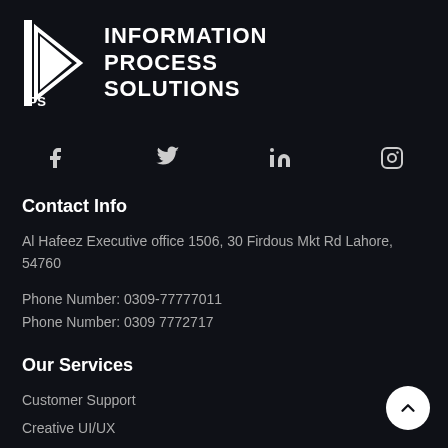[Figure (logo): IPS - Information Process Solutions logo with geometric arrow/shield graphic on dark background]
[Figure (infographic): Social media icons row: Facebook (f), Twitter (bird), LinkedIn (in), Instagram (camera)]
Contact Info
Al Hafeez Executive office 1506, 30 Firdous Mkt Rd Lahore, 54760
Phone Number: 0309-77777011
Phone Number: 0309 7772717
Our Services
Customer Support
Creative UI/UX